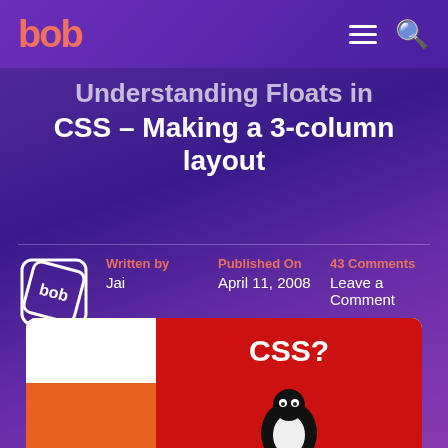bob (logo)
Understanding Floats in CSS – Making a 3-column layout
Written by Jai | Published On April 11, 2008 | 43 Comments Leave a Comment
[Figure (screenshot): Featured image showing CSS? text on red background with a penguin illustration]